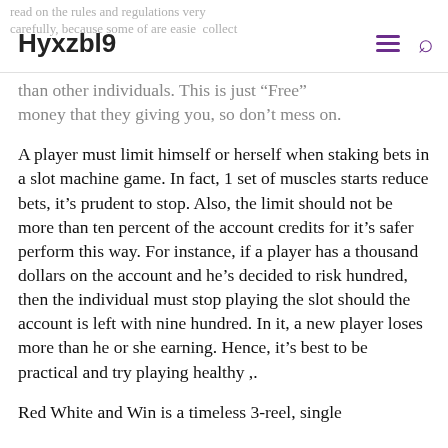Hyxzbl9
than other individuals. This is just "Free" money that they giving you, so don't mess on.
A player must limit himself or herself when staking bets in a slot machine game. In fact, 1 set of muscles starts reduce bets, it's prudent to stop. Also, the limit should not be more than ten percent of the account credits for it's safer perform this way. For instance, if a player has a thousand dollars on the account and he's decided to risk hundred, then the individual must stop playing the slot should the account is left with nine hundred. In it, a new player loses more than he or she earning. Hence, it's best to be practical and try playing healthy ,.
Red White and Win is a timeless 3-reel, single